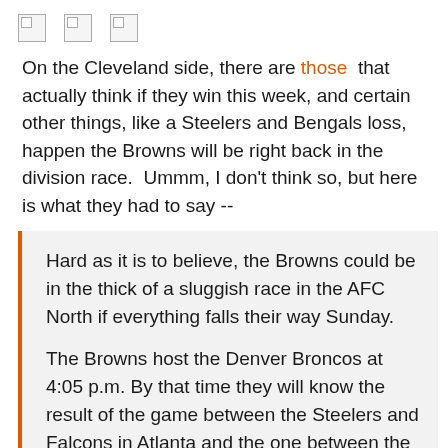[Figure (other): Three broken/missing image icons in a row]
On the Cleveland side, there are those that actually think if they win this week, and certain other things, like a Steelers and Bengals loss, happen the Browns will be right back in the division race.  Ummm, I don't think so, but here is what they had to say --
Hard as it is to believe, the Browns could be in the thick of a sluggish race in the AFC North if everything falls their way Sunday.

The Browns host the Denver Broncos at 4:05 p.m. By that time they will know the result of the game between the Steelers and Falcons in Atlanta and the one between the Panthers and Bengals in Cincinnati. The Ravens, in first place at 4-2, have a